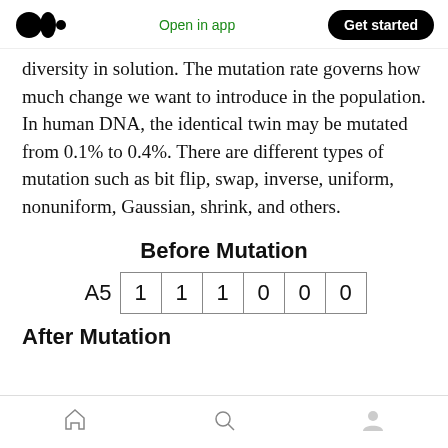Open in app | Get started
diversity in solution. The mutation rate governs how much change we want to introduce in the population. In human DNA, the identical twin may be mutated from 0.1% to 0.4%. There are different types of mutation such as bit flip, swap, inverse, uniform, nonuniform, Gaussian, shrink, and others.
Before Mutation
| A5 | 1 | 1 | 1 | 0 | 0 | 0 |
After Mutation
Home | Search | Profile